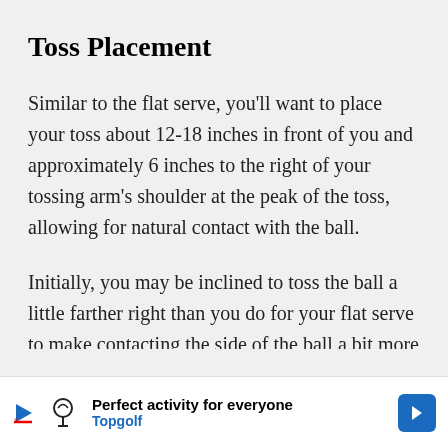Toss Placement
Similar to the flat serve, you'll want to place your toss about 12-18 inches in front of you and approximately 6 inches to the right of your tossing arm's shoulder at the peak of the toss, allowing for natural contact with the ball.
Initially, you may be inclined to toss the ball a little farther right than you do for your flat serve to make contacting the side of the ball a bit more pronounced and establish feel...
[Figure (other): Advertisement banner for Topgolf: 'Perfect activity for everyone' with Topgolf logo and blue arrow button]